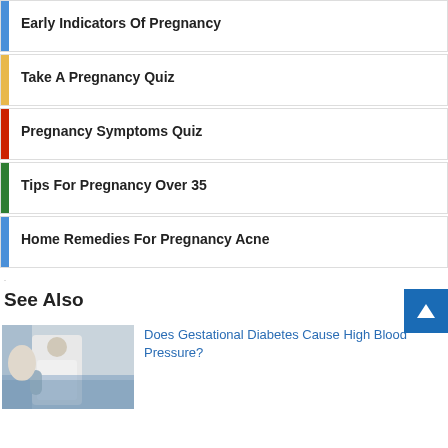Early Indicators Of Pregnancy
Take A Pregnancy Quiz
Pregnancy Symptoms Quiz
Tips For Pregnancy Over 35
Home Remedies For Pregnancy Acne
.
See Also
Does Gestational Diabetes Cause High Blood Pressure?
[Figure (photo): Doctor in white coat with stethoscope consulting a patient]